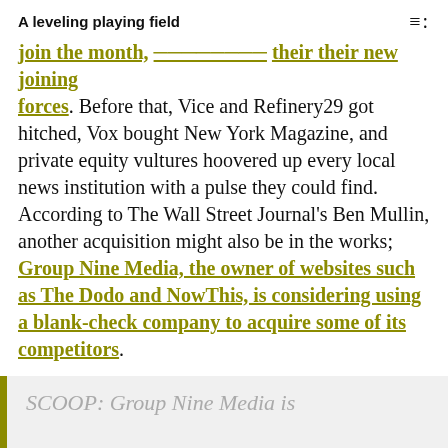A leveling playing field
forces. Before that, Vice and Refinery29 got hitched, Vox bought New York Magazine, and private equity vultures hoovered up every local news institution with a pulse they could find. According to The Wall Street Journal's Ben Mullin, another acquisition might also be in the works; Group Nine Media, the owner of websites such as The Dodo and NowThis, is considering using a blank-check company to acquire some of its competitors.
SCOOP: Group Nine Media is